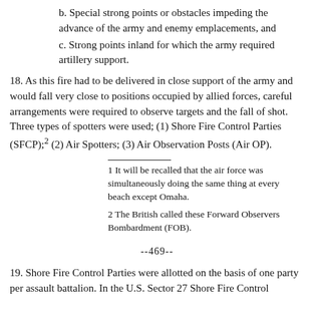b. Special strong points or obstacles impeding the advance of the army and enemy emplacements, and
c. Strong points inland for which the army required artillery support.
18. As this fire had to be delivered in close support of the army and would fall very close to positions occupied by allied forces, careful arrangements were required to observe targets and the fall of shot. Three types of spotters were used; (1) Shore Fire Control Parties (SFCP);2 (2) Air Spotters; (3) Air Observation Posts (Air OP).
1 It will be recalled that the air force was simultaneously doing the same thing at every beach except Omaha.
2 The British called these Forward Observers Bombardment (FOB).
--469--
19. Shore Fire Control Parties were allotted on the basis of one party per assault battalion. In the U.S. Sector 27 Shore Fire Control